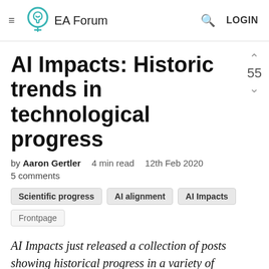EA Forum
AI Impacts: Historic trends in technological progress
by Aaron Gertler   4 min read   12th Feb 2020
5 comments
Scientific progress | AI alignment | AI Impacts | Frontpage
AI Impacts just released a collection of posts showing historical progress in a variety of technologies. Rather than cross-posting all of these articles individually, I've collected them in this post.